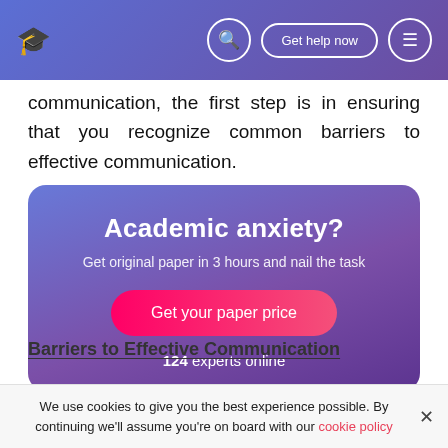Get help now
communication, the first step is in ensuring that you recognize common barriers to effective communication.
[Figure (infographic): Academic anxiety promotional card with gradient blue-purple background. Title: 'Academic anxiety?'. Subtitle: 'Get original paper in 3 hours and nail the task'. Button: 'Get your paper price'. Text: '124 experts online'.]
Barriers to Effective Communication
We use cookies to give you the best experience possible. By continuing we'll assume you're on board with our cookie policy